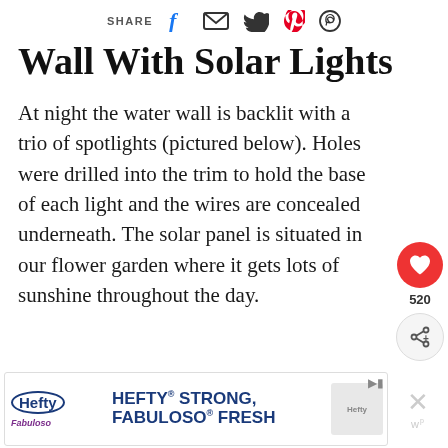SHARE [facebook] [email] [twitter] [pinterest] [whatsapp]
Wall With Solar Lights
At night the water wall is backlit with a trio of spotlights (pictured below). Holes were drilled into the trim to hold the base of each light and the wires are concealed underneath. The solar panel is situated in our flower garden where it gets lots of sunshine throughout the day.
[Figure (infographic): Heart/like button (red circle with heart icon) with count 520, and share button below it]
[Figure (infographic): WHAT'S NEXT arrow label in red, with thumbnail image of Solar Plant Pot Water... article]
[Figure (infographic): Hefty advertisement banner: HEFTY STRONG, FABULOSO FRESH with Hefty and Fabuloso logos]